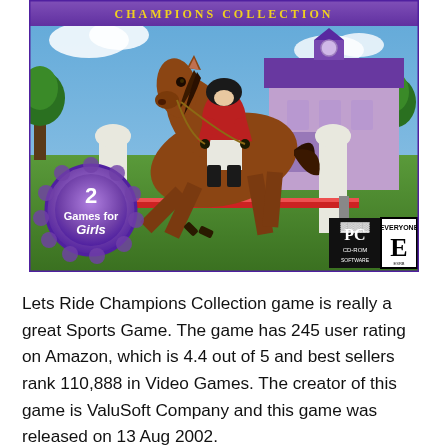[Figure (photo): Video game box art for 'Lets Ride Champions Collection' PC CD-ROM. Shows a horse and rider jumping over a fence bar. Features a purple ribbon badge saying '2 Games for Girls', PC CD-ROM logo, and ESRB Everyone (E) rating. Purple banner at top with game title.]
Lets Ride Champions Collection game is really a great Sports Game. The game has 245 user rating on Amazon, which is 4.4 out of 5 and best sellers rank 110,888 in Video Games. The creator of this game is ValuSoft Company and this game was released on 13 Aug 2002.